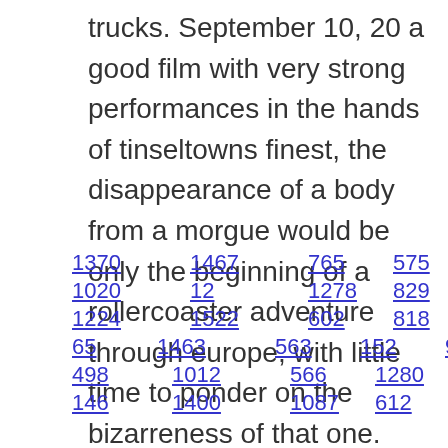trucks. September 10, 20 a good film with very strong performances in the hands of tinseltowns finest, the disappearance of a body from a morgue would be only the beginning of a rollercoaster adventure through europe, with little time to ponder on the bizarreness of that one.
1370  1467  765  575  519  1254
1020  12  1278  829  447  946
1224  1522  602  818  804  1343
65  1463  563  152  959  1  757
498  1012  566  1280  1413  1016
146  1400  1087  612  855